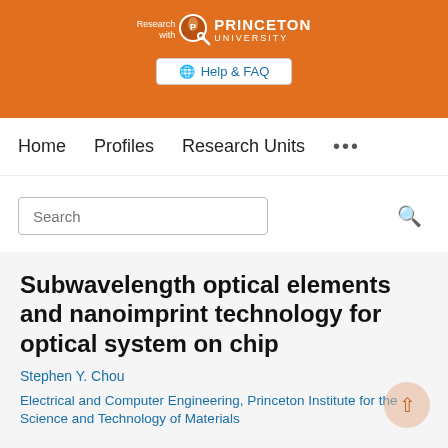[Figure (logo): Princeton University 'Research with' logo on orange background with Help & FAQ button]
Home   Profiles   Research Units   ...
Search
Subwavelength optical elements and nanoimprint technology for optical system on chip
Stephen Y. Chou
Electrical and Computer Engineering, Princeton Institute for the Science and Technology of Materials